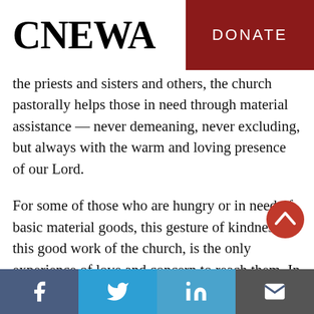CNEWA | DONATE
the priests and sisters and others, the church pastorally helps those in need through material assistance — never demeaning, never excluding, but always with the warm and loving presence of our Lord.
For some of those who are hungry or in need of basic material goods, this gesture of kindness, this good work of the church, is the only experience of love and concern to reach them. In offering material aid, in emergency circumstances or in abiding conflicts, the church
Facebook | Twitter | LinkedIn | Email